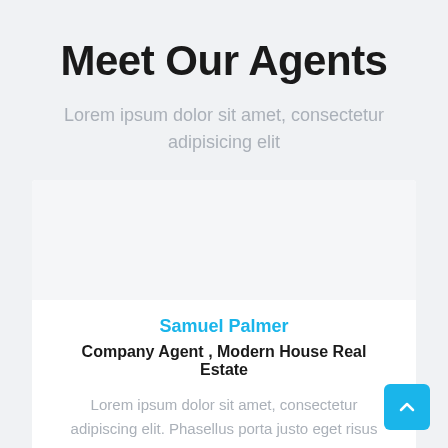Meet Our Agents
Lorem ipsum dolor sit amet, consectetur adipisicing elit
Samuel Palmer
Company Agent , Modern House Real Estate
Lorem ipsum dolor sit amet, consectetur adipiscing elit. Phasellus porta justo eget risus consectetur,...